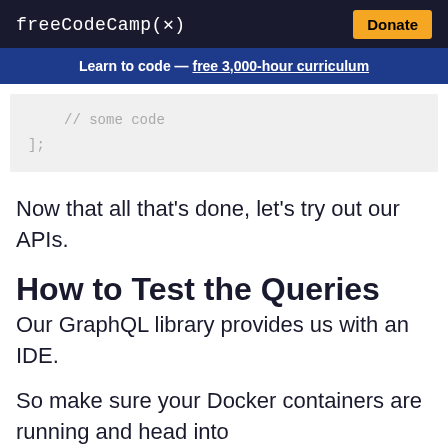freeCodeCamp(🔥)   Donate
Learn to code — free 3,000-hour curriculum
// some code
];
Now that all that's done, let's try out our APIs.
How to Test the Queries
Our GraphQL library provides us with an IDE.
So make sure your Docker containers are running and head into http://localhost/graphiql.